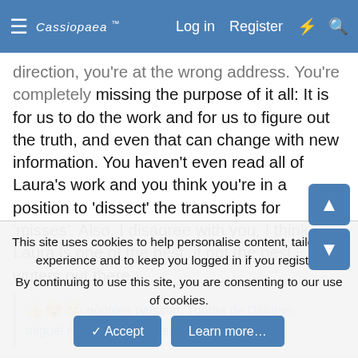Cassiopaea Forum — Log in  Register
...direction, you're at the wrong address. You're completely missing the purpose of it all: It is for us to do the work and for us to figure out the truth, and even that can change with new information. You haven't even read all of Laura's work and you think you're in a position to 'dissect' the transcripts for 'misses'. Also, I disagree with you, I think Laura is one of the best, if not the best, writers out there.
👍😍😕 goggles paisano, Tuatha de Danaan, miguel angel and 40 others
othree
Jedi
This site uses cookies to help personalise content, tailor your experience and to keep you logged in if you register.
By continuing to use this site, you are consenting to our use of cookies.
✓ Accept    Learn more...